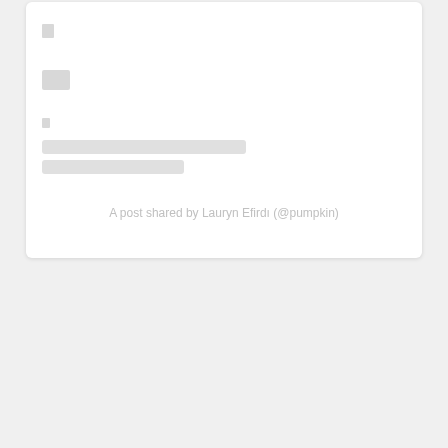[Figure (screenshot): Social media embed card (Instagram loading/placeholder state) with grey placeholder bars and shapes on white card with rounded corners]
A post shared by Lauryn Efirdı (@pumpkin)